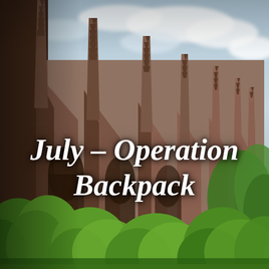[Figure (photo): Photograph of Gothic cathedral buttresses and spires with ornate pointed stone pinnacles rising against a cloudy sky, with lush green trees and foliage in the foreground and lower portion of the image. The stone architecture appears brownish-grey with intricate carved details.]
July – Operation Backpack